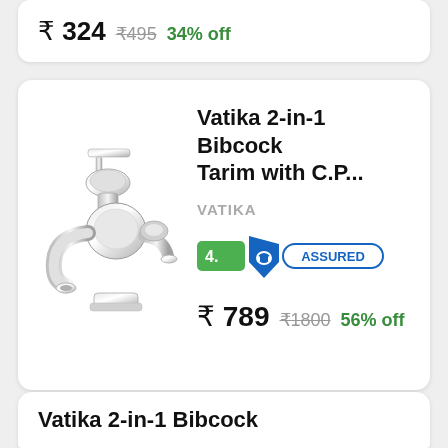₹ 324  ₹495  34% off
[Figure (photo): Chrome faucet / bibcock product image - Vatika 2-in-1 Bibcock Tarim]
Vatika 2-in-1 Bibcock Tarim with C.P...
VATIKA
[Figure (logo): Rating badge showing 4. with Flipkart Assured shield logo and ASSURED text in blue border]
₹ 789  ₹1800  56% off
Vatika 2-in-1 Bibcock